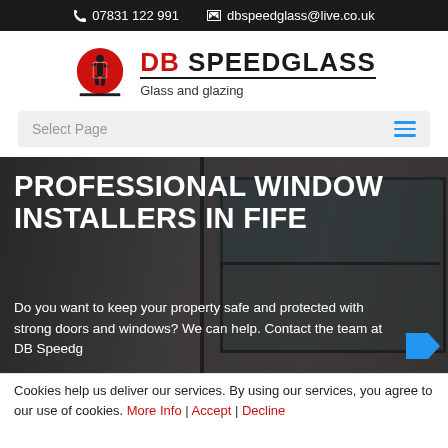📞 07831 122 991  ✉ dbspeedglass@live.co.uk
[Figure (logo): DB Speedglass logo: red circle with black figure, text 'DB SPEEDGLASS / Glass and glazing']
Select Page
PROFESSIONAL WINDOW INSTALLERS IN FIFE
Do you want to keep your property safe and protected with strong doors and windows? We can help. Contact the team at DB Speedg…
Cookies help us deliver our services. By using our services, you agree to our use of cookies. More Info | Accept | Decline